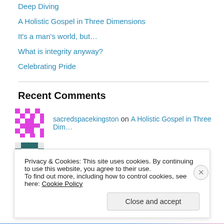Deep Diving
A Holistic Gospel in Three Dimensions
It's a man's world, but…
What is integrity anyway?
Celebrating Pride
Recent Comments
sacredspacekingston on A Holistic Gospel in Three Dim…
Ellie on A Holistic Gospel in Three Dim…
Privacy & Cookies: This site uses cookies. By continuing to use this website, you agree to their use. To find out more, including how to control cookies, see here: Cookie Policy